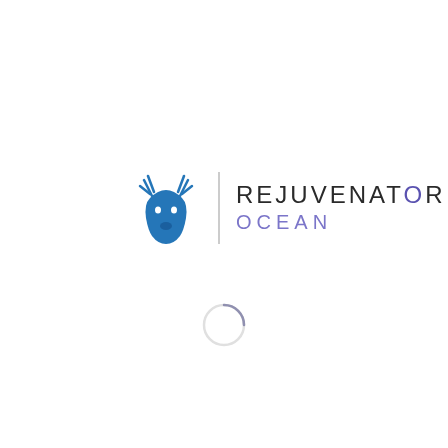[Figure (logo): Rejuvenator Ocean logo: a blue stylized deer/antelope head icon, a vertical grey divider line, and text 'REJUVENATOR' in dark grey with 'O' highlighted in purple, and 'OCEAN' in purple/lavender below]
[Figure (other): A circular loading spinner arc in light grey/blue, partial circle indicating a loading state]